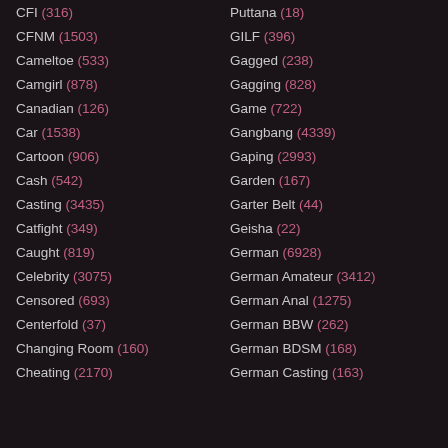CFI (316)
CFNM (1503)
Cameltoe (533)
Camgirl (878)
Canadian (126)
Car (1538)
Cartoon (906)
Cash (542)
Casting (3435)
Catfight (349)
Caught (819)
Celebrity (3075)
Censored (693)
Centerfold (37)
Changing Room (160)
Cheating (2170)
Puttana (18)
GILF (396)
Gagged (238)
Gagging (828)
Game (722)
Gangbang (4339)
Gaping (2993)
Garden (167)
Garter Belt (44)
Geisha (22)
German (6928)
German Amateur (3412)
German Anal (1275)
German BBW (262)
German BDSM (168)
German Casting (163)